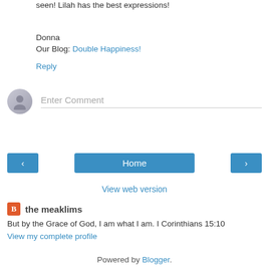seen! Lilah has the best expressions!
Donna
Our Blog: Double Happiness!
Reply
[Figure (illustration): Comment input area with a circular avatar icon and 'Enter Comment' placeholder text, with a bottom border line]
[Figure (infographic): Navigation buttons: left arrow, Home, right arrow in blue]
View web version
the meaklims
But by the Grace of God, I am what I am. I Corinthians 15:10
View my complete profile
Powered by Blogger.